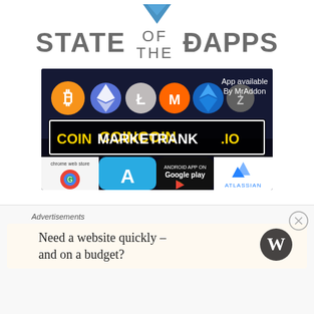[Figure (logo): State of the DApps website logo with chevron icon above the title text]
[Figure (screenshot): CoinMarketRank.io advertisement banner showing cryptocurrency logos (Bitcoin, Ethereum, Litecoin, Monero, and others), app store badges for Chrome Web Store, Apple App Store, Google Play, and Atlassian, with text 'App available By MrAddon' and 'COINMARKETRANK.IO']
TOP POSTS & PAGES
Al...
Advertisements
Need a website quickly – and on a budget?